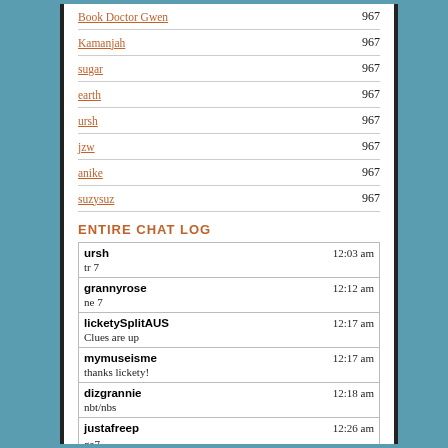Book Doctor Gwen — 967
Kamanjah — 967
sugar — 967
earth — 967
ursh — 967
jzw — 967
anike — 967
suzysuz — 967
ENTIRE CHAT LOG
| User | Time | Message |
| --- | --- | --- |
| ursh | 12:03 am | tr 7 |
| grannyrose | 12:12 am | ne 7 |
| licketySplitAUS | 12:17 am | Clues are up |
| mymuseisme | 12:17 am | thanks lickety! |
| dizgrannie | 12:18 am | nbt/nbs |
| justafreep | 12:26 am | ga7 |